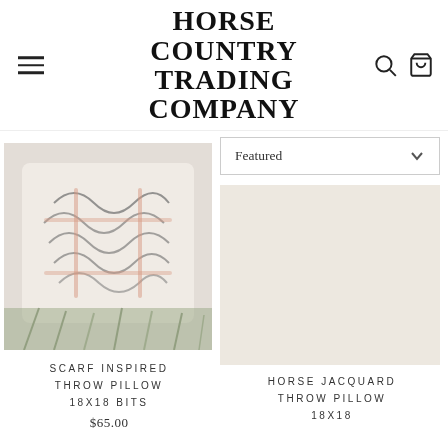HORSE COUNTRY TRADING COMPANY
[Figure (screenshot): Dropdown sort selector showing 'Featured' with a chevron down icon]
[Figure (photo): Scarf inspired throw pillow with decorative black swirl pattern on light background, resting among green grass]
SCARF INSPIRED THROW PILLOW 18X18 BITS
$65.00
HORSE JACQUARD THROW PILLOW 18X18